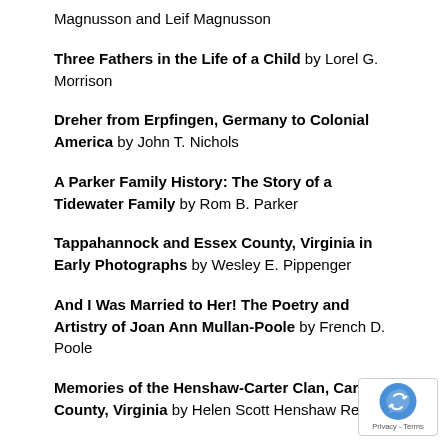Magnusson and Leif Magnusson
Three Fathers in the Life of a Child by Lorel G. Morrison
Dreher from Erpfingen, Germany to Colonial America by John T. Nichols
A Parker Family History: The Story of a Tidewater Family by Rom B. Parker
Tappahannock and Essex County, Virginia in Early Photographs by Wesley E. Pippenger
And I Was Married to Her! The Poetry and Artistry of Joan Ann Mullan-Poole by French D. Poole
Memories of the Henshaw-Carter Clan, Caroline County, Virginia by Helen Scott Henshaw Reed